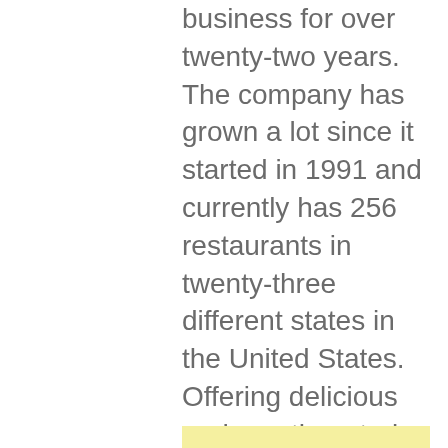business for over twenty-two years. The company has grown a lot since it started in 1991 and currently has 256 restaurants in twenty-three different states in the United States. Offering delicious and mouth-watering steaks and amazing rolls, the vast variety of excellent food items on display simply makes the restaurant a very popular choice among the masses. The company's ever budding reputation is one of the reasons why it remains a very good idea to pursue a job at Logan's Roadhouse.